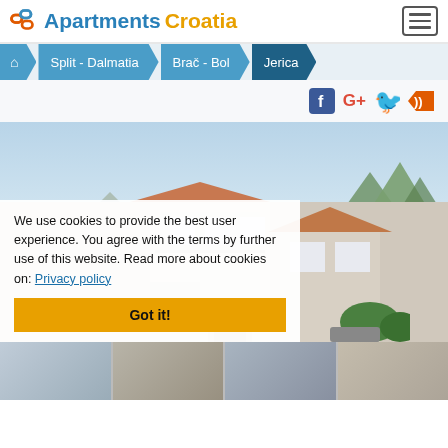ApartmentsCroatia
Split - Dalmatia > Brač - Bol > Jerica
[Figure (screenshot): Social sharing icons: Facebook, Google+, Twitter, RSS feed]
[Figure (photo): Exterior photo of Croatian stone apartment buildings with balconies, red tile roofs, mountains and greenery in background]
We use cookies to provide the best user experience. You agree with the terms by further use of this website. Read more about cookies on: Privacy policy
Got it!
[Figure (photo): Thumbnail strip showing 4 smaller photos of the property]